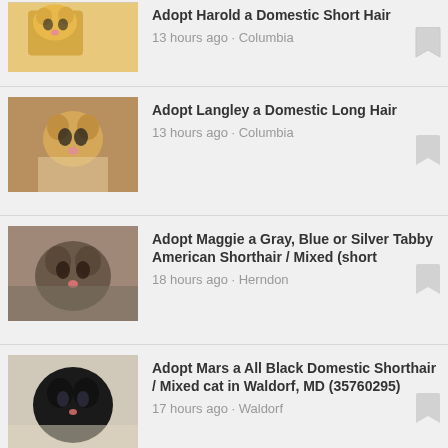Adopt Harold a Domestic Short Hair
13 hours ago · Columbia
Adopt Langley a Domestic Long Hair
13 hours ago · Columbia
Adopt Maggie a Gray, Blue or Silver Tabby American Shorthair / Mixed (short
18 hours ago · Herndon
Adopt Mars a All Black Domestic Shorthair / Mixed cat in Waldorf, MD (35760295)
17 hours ago · Waldorf
Adopt SILVA a Cream or Ivory Domestic Longhair / Mixed (long coat) cat in
17 hours ago · Leesburg
Adopt Saphire a Domestic Short Hair
13 hours ago · Ellicott City